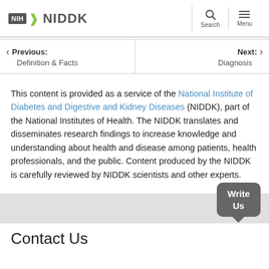NIH NIDDK
Previous: Definition & Facts
Next: Diagnosis
This content is provided as a service of the National Institute of Diabetes and Digestive and Kidney Diseases (NIDDK), part of the National Institutes of Health. The NIDDK translates and disseminates research findings to increase knowledge and understanding about health and disease among patients, health professionals, and the public. Content produced by the NIDDK is carefully reviewed by NIDDK scientists and other experts.
Contact Us